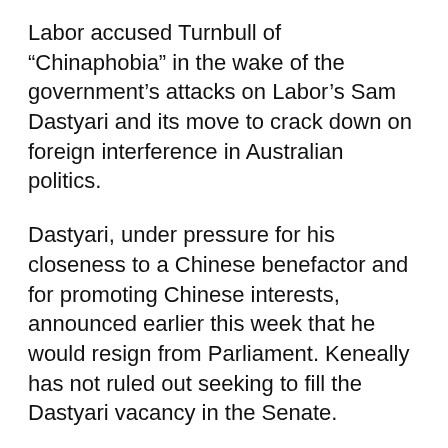Labor accused Turnbull of “Chinaphobia” in the wake of the government’s attacks on Labor’s Sam Dastyari and its move to crack down on foreign interference in Australian politics.
Dastyari, under pressure for his closeness to a Chinese benefactor and for promoting Chinese interests, announced earlier this week that he would resign from Parliament. Keneally has not ruled out seeking to fill the Dastyari vacancy in the Senate.
The government resurrected Keneally’s history as NSW premier, seeking to link her to disgraced Labor figures Eddie Obeid and Ian Macdonald, both of whom are in jail.
Cory Bernardi’s Australian Conservatives, in its first electoral outing, had a vote of about 4.5%, with